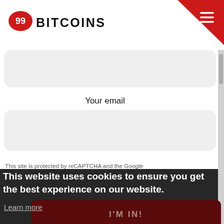99BITCOINS
Your email
This site is protected by reCAPTCHA and the Google
This website uses cookies to ensure you get the best experience on our website.
Learn more
I'M IN!
Accept
We hate spam as much as you do. You can